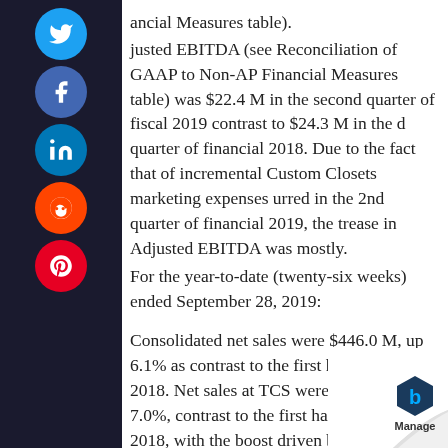ancial Measures table). justed EBITDA (see Reconciliation of GAAP to Non-AP Financial Measures table) was $22.4 M in the second quarter of fiscal 2019 contrast to $24.3 M in the d quarter of financial 2018. Due to the fact that of incremental Custom Closets marketing expenses urred in the 2nd quarter of financial 2019, the trease in Adjusted EBITDA was mostly.
For the year-to-date (twenty-six weeks) ended September 28, 2019:
Consolidated net sales were $446.0 M, up 6.1% as contrast to the first half of fiscal 2018. Net sales at TCS were $416.3 M, up 7.0%, contrast to the first half of financial 2018, with the boost driven by a similar s sales boost of 6.5%, as well as incremental sales brand-new shops. Elfa third-party net sales we M, down 5.1% contrast to the first half of financial 2018,